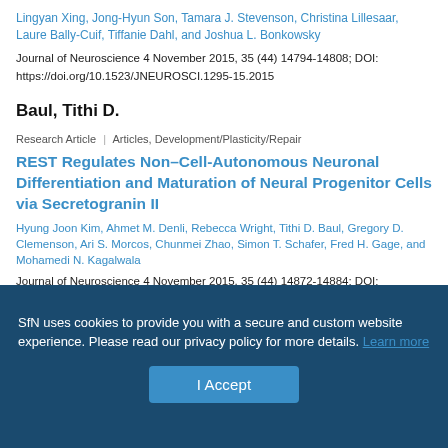Lingyan Xing, Jong-Hyun Son, Tamara J. Stevenson, Christina Lillesaar, Laure Bally-Cuif, Tiffanie Dahl, and Joshua L. Bonkowsky
Journal of Neuroscience 4 November 2015, 35 (44) 14794-14808; DOI: https://doi.org/10.1523/JNEUROSCI.1295-15.2015
Baul, Tithi D.
Research Article | Articles, Development/Plasticity/Repair
REST Regulates Non–Cell-Autonomous Neuronal Differentiation and Maturation of Neural Progenitor Cells via Secretogranin II
Hyung Joon Kim, Ahmet M. Denli, Rebecca Wright, Tithi D. Baul, Gregory D. Clemenson, Ari S. Morcos, Chunmei Zhao, Simon T. Schafer, Fred H. Gage, and Mohamedi N. Kagalwala
Journal of Neuroscience 4 November 2015, 35 (44) 14872-14884; DOI: https://doi.org/10.1523/JNEUROSCI.4286-14.2015
SfN uses cookies to provide you with a secure and custom website experience. Please read our privacy policy for more details. Learn more
I Accept